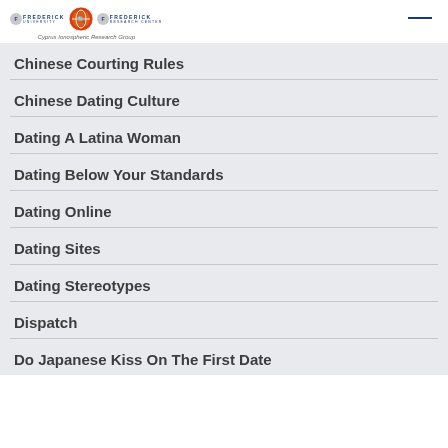Frederick University / Frederick Research Center — Cyprus Ionospheric Research Group
Chinese Courting Rules
Chinese Dating Culture
Dating A Latina Woman
Dating Below Your Standards
Dating Online
Dating Sites
Dating Stereotypes
Dispatch
Do Japanese Kiss On The First Date